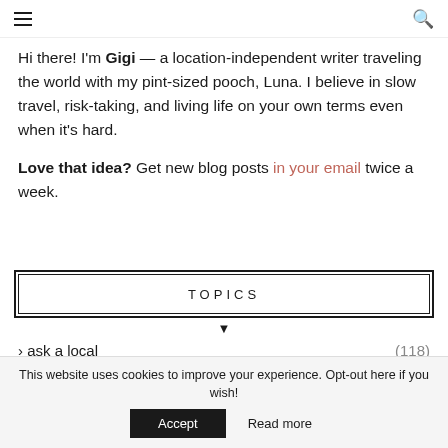≡ [hamburger menu] [search icon]
Hi there! I'm Gigi — a location-independent writer traveling the world with my pint-sized pooch, Luna. I believe in slow travel, risk-taking, and living life on your own terms even when it's hard.
Love that idea? Get new blog posts in your email twice a week.
TOPICS
› ask a local (118)
This website uses cookies to improve your experience. Opt-out here if you wish! Accept Read more